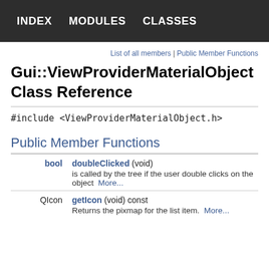INDEX   MODULES   CLASSES
List of all members | Public Member Functions
Gui::ViewProviderMaterialObject Class Reference
#include <ViewProviderMaterialObject.h>
Public Member Functions
| Type | Function |
| --- | --- |
| bool | doubleClicked (void)
is called by the tree if the user double clicks on the object  More... |
| QIcon | getIcon (void) const
Returns the pixmap for the list item.  More... |